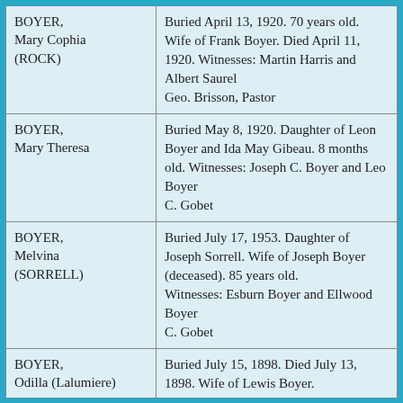| Name | Information |
| --- | --- |
| BOYER, Mary Cophia (ROCK) | Buried April 13, 1920. 70 years old. Wife of Frank Boyer. Died April 11, 1920. Witnesses: Martin Harris and Albert Saurel
Geo. Brisson, Pastor |
| BOYER, Mary Theresa | Buried May 8, 1920. Daughter of Leon Boyer and Ida May Gibeau. 8 months old. Witnesses: Joseph C. Boyer and Leo Boyer
C. Gobet |
| BOYER, Melvina (SORRELL) | Buried July 17, 1953. Daughter of Joseph Sorrell. Wife of Joseph Boyer (deceased). 85 years old. Witnesses: Esburn Boyer and Ellwood Boyer
C. Gobet |
| BOYER, Odilla (Lalumiere) | Buried July 15, 1898. Died July 13, 1898. Wife of Lewis Boyer. Witnesses: Charles Lalumiere and Francis Boyer, Jr.
A. L. Desauluiers, Pastor |
|  | Buried June 10, 1888. Died June 8, 1888... |